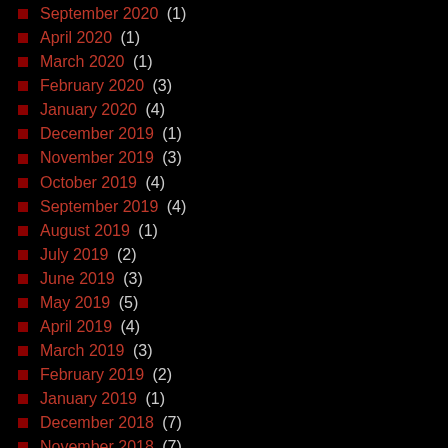September 2020 (1)
April 2020 (1)
March 2020 (1)
February 2020 (3)
January 2020 (4)
December 2019 (1)
November 2019 (3)
October 2019 (4)
September 2019 (4)
August 2019 (1)
July 2019 (2)
June 2019 (3)
May 2019 (5)
April 2019 (4)
March 2019 (3)
February 2019 (2)
January 2019 (1)
December 2018 (7)
November 2018 (7)
October 2018 (3)
September 2018 (4)
August 2018 (3)
July 2018 (4)
June 2018 (2)